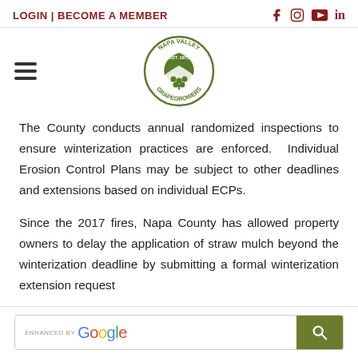LOGIN | BECOME A MEMBER
[Figure (logo): Napa Valley Grapegrowers circular logo, Est. 1975, with grape leaf illustration]
The County conducts annual randomized inspections to ensure winterization practices are enforced. Individual Erosion Control Plans may be subject to other deadlines and extensions based on individual ECPs.
Since the 2017 fires, Napa County has allowed property owners to delay the application of straw mulch beyond the winterization deadline by submitting a formal winterization extension request
[Figure (screenshot): Enhanced by Google search bar with magnifying glass button]